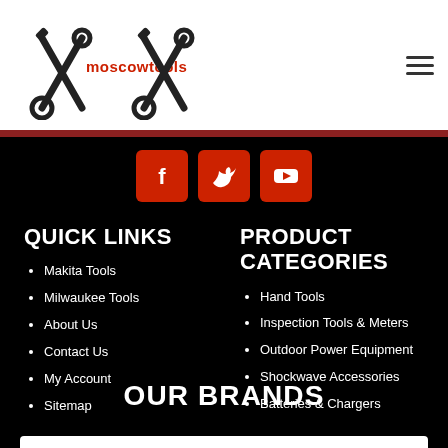[Figure (logo): Moscow Tools logo with crossed wrenches and screwdrivers icon and 'moscowtools' text in red]
[Figure (infographic): Three social media icons: Facebook, Twitter, YouTube on dark red rounded square backgrounds]
QUICK LINKS
Makita Tools
Milwaukee Tools
About Us
Contact Us
My Account
Sitemap
PRODUCT CATEGORIES
Hand Tools
Inspection Tools & Meters
Outdoor Power Equipment
Shockwave Accessories
Batteries & Chargers
OUR BRANDS